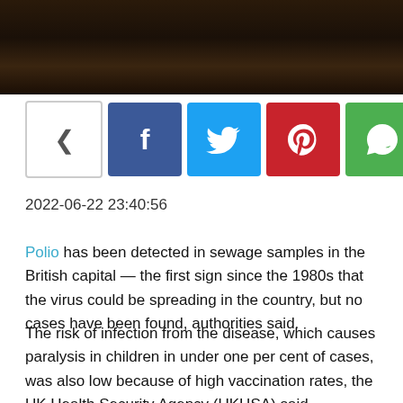[Figure (photo): Dark moody background photo banner at top of page]
[Figure (infographic): Social share bar with icons: share (outline), Facebook (blue), Twitter (cyan), Pinterest (red), WhatsApp (green), Tumblr (dark blue), Telegram (light blue)]
2022-06-22 23:40:56
Polio has been detected in sewage samples in the British capital — the first sign since the 1980s that the virus could be spreading in the country, but no cases have been found, authorities said.
The risk of infection from the disease, which causes paralysis in children in under one per cent of cases, was also low because of high vaccination rates, the UK Health Security Agency (UKHSA) said.